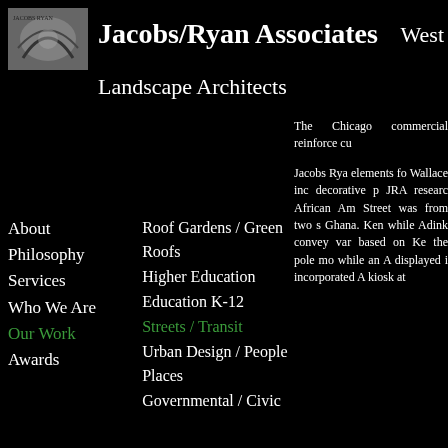[Figure (logo): Jacobs/Ryan Associates logo image, decorative architectural graphic]
Jacobs/Ryan Associates
West
Landscape Architects
The Chicago commercial reinforce cu
Jacobs Rya elements fo Wallace inc decorative p JRA researc African Am Street was from two s Ghana. Ken while Adink convey var based on Ke the pole mo while an A displayed i incorporated A kiosk at
About
Roof Gardens / Green Roofs
Philosophy
Higher Education
Services
Education K-12
Who We Are
Streets / Transit
Our Work
Urban Design / People Places
Awards
Governmental / Civic